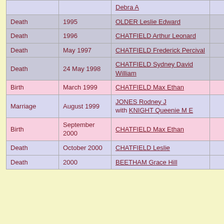| Event | Date | Person | ? |
| --- | --- | --- | --- |
|  |  | Debra A |  |
| Death | 1995 | OLDER Leslie Edward | ? |
| Death | 1996 | CHATFIELD Arthur Leonard | ? |
| Death | May 1997 | CHATFIELD Frederick Percival | ? |
| Death | 24 May 1998 | CHATFIELD Sydney David William | ? |
| Birth | March 1999 | CHATFIELD Max Ethan | ? |
| Marriage | August 1999 | JONES Rodney J with KNIGHT Queenie M E | ? |
| Birth | September 2000 | CHATFIELD Max Ethan | ? |
| Death | October 2000 | CHATFIELD Leslie | ? |
| Death | 2000 | BEETHAM Grace Hill | ? |